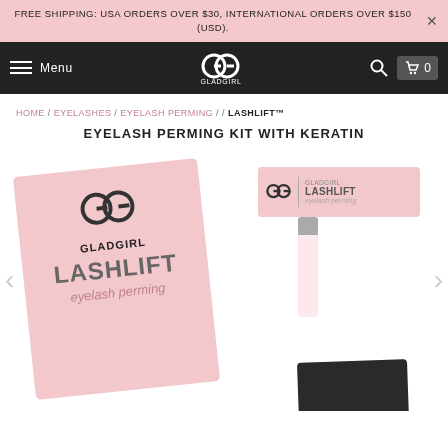FREE SHIPPING: USA ORDERS OVER $30, INTERNATIONAL ORDERS OVER $150 (USD).
[Figure (screenshot): GladGirl website navigation bar with hamburger menu, GG GladGirl logo, search icon, and shopping cart showing 0 items.]
HOME / EYELASHES / EYELASH PERMING / / LASHLIFT™
EYELASH PERMING KIT WITH KERATIN
[Figure (photo): GladGirl Lashlift eyelash perming kit product photo showing a pink card with GladGirl logo and 'LASHLIFT eyelash perming' text, alongside a small pink box and a tube applicator.]